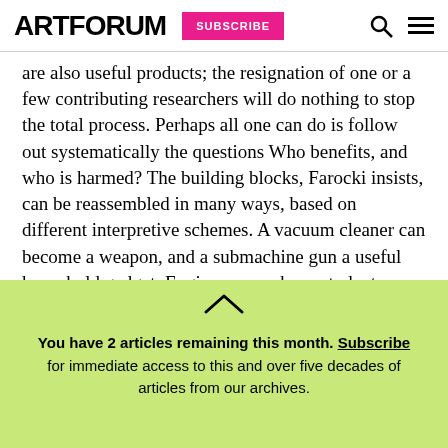ARTFORUM | SUBSCRIBE
are also useful products; the resignation of one or a few contributing researchers will do nothing to stop the total process. Perhaps all one can do is follow out systematically the questions Who benefits, and who is harmed? The building blocks, Farocki insists, can be reassembled in many ways, based on different interpretive schemes. A vacuum cleaner can become a weapon, and a submachine gun a useful household gadget. Engineers, workers, students—we are all
You have 2 articles remaining this month. Subscribe for immediate access to this and over five decades of articles from our archives.